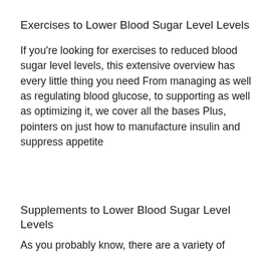Exercises to Lower Blood Sugar Level Levels
If you're looking for exercises to reduced blood sugar level levels, this extensive overview has every little thing you need From managing as well as regulating blood glucose, to supporting as well as optimizing it, we cover all the bases Plus, pointers on just how to manufacture insulin and suppress appetite
Supplements to Lower Blood Sugar Level Levels
As you probably know, there are a variety of